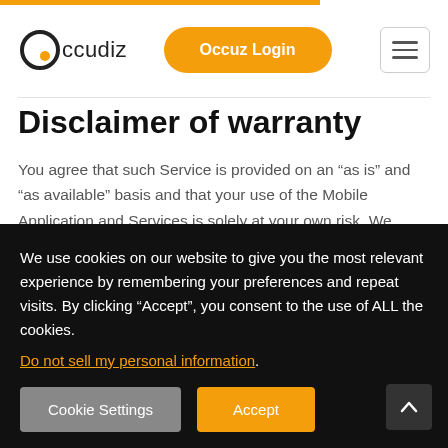Occudiz | Occuz Login
Disclaimer of warranty
You agree that such Service is provided on an “as is” and “as available” basis and that your use of the Mobile Application and Services is solely at your own risk. We expressly disclaim all warranties of any kind, whether express or implied, including but not limited to the implied warranties of
We use cookies on our website to give you the most relevant experience by remembering your preferences and repeat visits. By clicking “Accept”, you consent to the use of ALL the cookies. Do not sell my personal information.
Cookie Settings | Accept